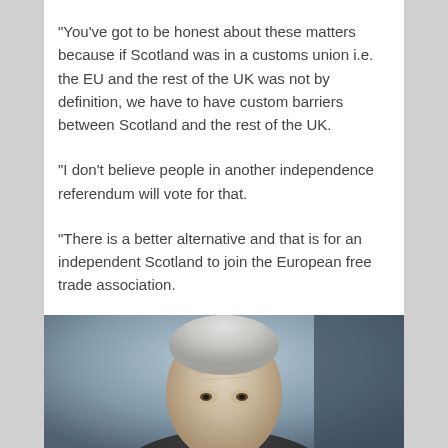“You’ve got to be honest about these matters because if Scotland was in a customs union i.e. the EU and the rest of the UK was not by definition, we have to have custom barriers between Scotland and the rest of the UK.
“I don’t believe people in another independence referendum will vote for that.
“There is a better alternative and that is for an independent Scotland to join the European free trade association.
[Figure (photo): Photograph of an elderly man with grey/white hair, visible from the head upward, against a muted background.]